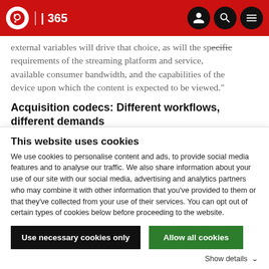IBC 365
external variables will drive that choice, as will the specific requirements of the streaming platform and service, available consumer bandwidth, and the capabilities of the device upon which the content is expected to be viewed."
Acquisition codecs: Different workflows, different demands
As a prominent broadcast equipment supplier and systems
This website uses cookies
We use cookies to personalise content and ads, to provide social media features and to analyse our traffic. We also share information about your use of our site with our social media, advertising and analytics partners who may combine it with other information that you've provided to them or that they've collected from your use of their services. You can opt out of certain types of cookies below before proceeding to the website.
Use necessary cookies only
Allow all cookies
Show details